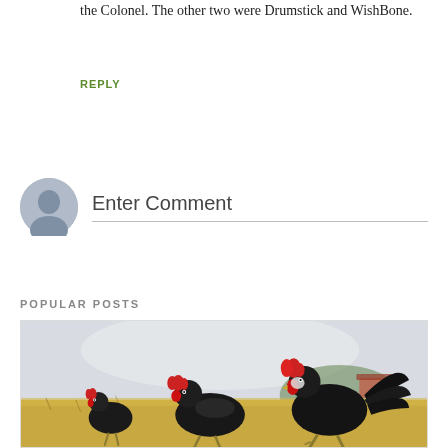the Colonel. The other two were Drumstick and WishBone.
REPLY
Enter Comment
POPULAR POSTS
[Figure (photo): Illustration of three black chickens (two hens and one rooster) standing in a golden field with a farm building and hills in the background. The birds have red combs and white faces.]